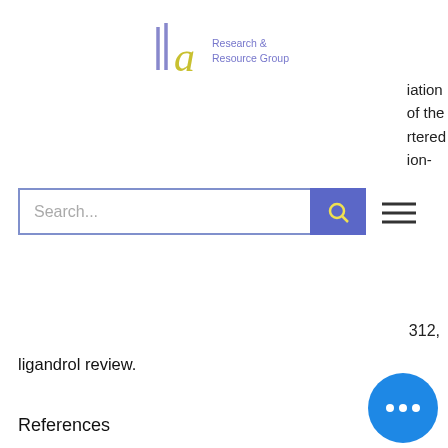IIa Research & Resource Group
iation of the rtered ion-
ligandrol review.
312,
References
[1] http://www.the-american-athletic-athlete.com/articles/top-issues/what-are-the-main-issues-in-the-athletics-are-that-you-should-be-careful-
Ligandrol pros and cons
Ligandrol is another powerful legal steroid that is fairly well studied, meaning that can take it and rest easy at the minima effects of a prescription, which would include